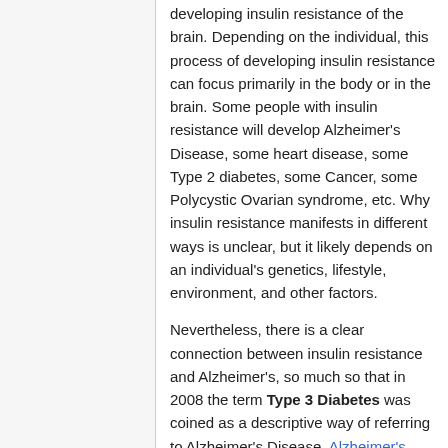developing insulin resistance of the brain. Depending on the individual, this process of developing insulin resistance can focus primarily in the body or in the brain. Some people with insulin resistance will develop Alzheimer's Disease, some heart disease, some Type 2 diabetes, some Cancer, some Polycystic Ovarian syndrome, etc. Why insulin resistance manifests in different ways is unclear, but it likely depends on an individual's genetics, lifestyle, environment, and other factors.
Nevertheless, there is a clear connection between insulin resistance and Alzheimer's, so much so that in 2008 the term Type 3 Diabetes was coined as a descriptive way of referring to Alzheimer's Disease. Alzheimer's Disease Is Type 3 Diabetes. Evidence